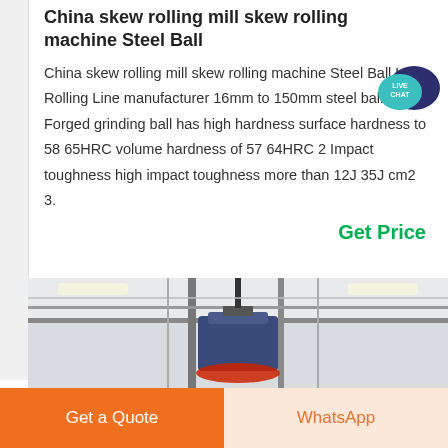China skew rolling mill skew rolling machine Steel Ball
China skew rolling mill skew rolling machine Steel Ball Hot Rolling Line manufacturer 16mm to 150mm steel ball 1 Forged grinding ball has high hardness surface hardness to 58 65HRC volume hardness of 57 64HRC 2 Impact toughness high impact toughness more than 12J 35J cm2 3.
[Figure (illustration): LIVE CHAT speech bubble icon with dark navy and teal colors]
Get Price
[Figure (photo): Industrial factory interior showing ceiling machinery with metal structure, a large blue cylindrical piece of equipment suspended, and a red circular element visible at the bottom, lit by fluorescent lights]
Get a Quote
WhatsApp